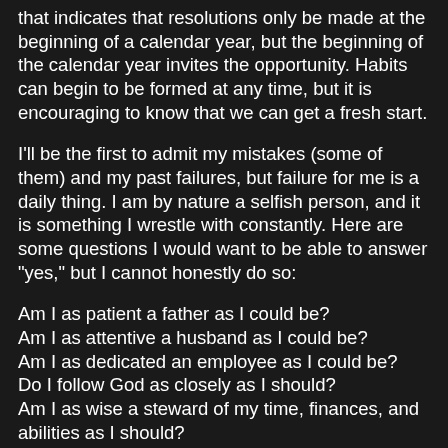that indicates that resolutions only be made at the beginning of a calendar year, but the beginning of the calendar year invites the opportunity. Habits can begin to be formed at any time, but it is encouraging to know that we can get a fresh start.
I'll be the first to admit my mistakes (some of them) and my past failures, but failure for me is a daily thing. I am by nature a selfish person, and it is something I wrestle with constantly. Here are some questions I would want to be able to answer "yes," but I cannot honestly do so:
Am I as patient a father as I could be?
Am I as attentive a husband as I could be?
Am I as dedicated an employee as I could be?
Do I follow God as closely as I should?
Am I as wise a steward of my time, finances, and abilities as I should?
It is a new year, and a new day and I have an opportunity to change the direction of my life. It does not erase past failures, but it is a reminder to be better and more diligent in